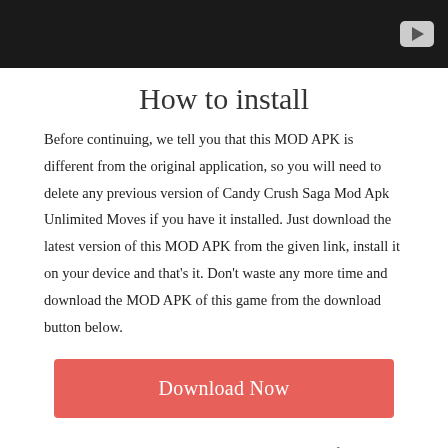[Figure (screenshot): Dark video player bar with a YouTube-style play button icon in the top right corner]
How to install
Before continuing, we tell you that this MOD APK is different from the original application, so you will need to delete any previous version of Candy Crush Saga Mod Apk Unlimited Moves if you have it installed. Just download the latest version of this MOD APK from the given link, install it on your device and that's it. Don't waste any more time and download the MOD APK of this game from the download button below.
[Figure (other): Download Now button — red/salmon colored rectangular button with white text]
So, in the next step, let's assume you have successfully downloaded the apk file from the link above. Many people do not know how to manually install APK files on their Android device, if